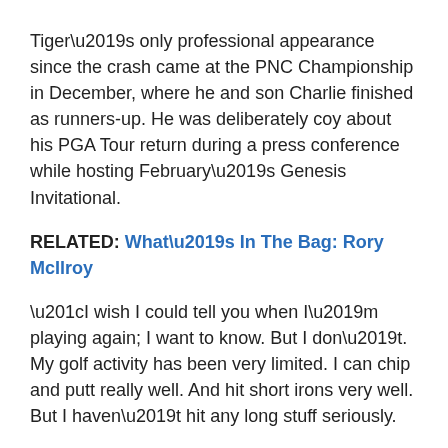Tiger’s only professional appearance since the crash came at the PNC Championship in December, where he and son Charlie finished as runners-up. He was deliberately coy about his PGA Tour return during a press conference while hosting February’s Genesis Invitational.
RELATED: What’s In The Bag: Rory McIlroy
“I wish I could tell you when I’m playing again; I want to know. But I don’t. My golf activity has been very limited. I can chip and putt really well. And hit short irons very well. But I haven’t hit any long stuff seriously.
“I’m still working on the walking part. My foot was a little messed up there a year ago. My walking I’m still working on. Getting strength back. It takes time. What’s frustrating